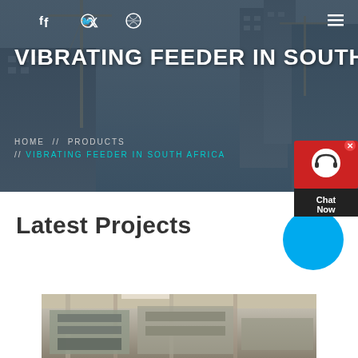[Figure (photo): Hero banner showing construction cranes and city buildings with dark overlay, social media icons (Facebook, Twitter, Dribbble) and hamburger menu icon at top]
VIBRATING FEEDER IN SOUTH A
HOME // PRODUCTS // VIBRATING FEEDER IN SOUTH AFRICA
[Figure (other): Red chat widget with headset icon and 'Chat Now' text, with X close button]
Latest Projects
[Figure (photo): Industrial machinery/crushing equipment photograph at bottom of page]